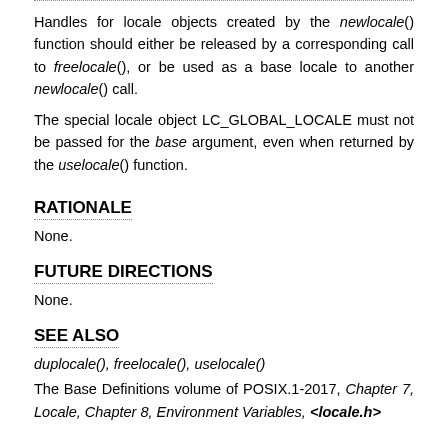Handles for locale objects created by the newlocale() function should either be released by a corresponding call to freelocale(), or be used as a base locale to another newlocale() call.
The special locale object LC_GLOBAL_LOCALE must not be passed for the base argument, even when returned by the uselocale() function.
RATIONALE
None.
FUTURE DIRECTIONS
None.
SEE ALSO
duplocale(), freelocale(), uselocale()
The Base Definitions volume of POSIX.1-2017, Chapter 7, Locale, Chapter 8, Environment Variables, <locale.h>
COPYRIGHT